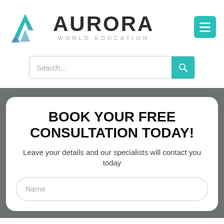[Figure (logo): Aurora World Education logo with colorful mountain/letter A icon and text 'AURORA WORLD EDUCATION']
[Figure (screenshot): Search bar with placeholder text 'Search...' and teal search button icon]
BOOK YOUR FREE CONSULTATION TODAY!
Leave your details and our specialists will contact you today
Name